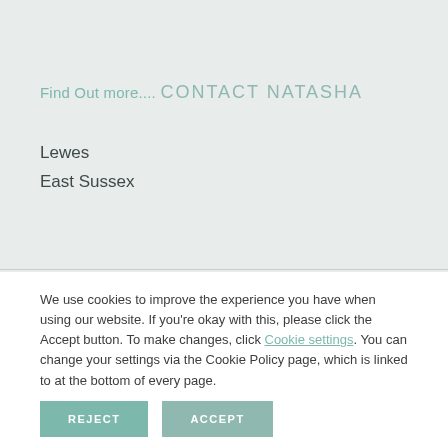Find Out more....
CONTACT NATASHA
Lewes
East Sussex
We use cookies to improve the experience you have when using our website. If you're okay with this, please click the Accept button. To make changes, click Cookie settings. You can change your settings via the Cookie Policy page, which is linked to at the bottom of every page.
REJECT
ACCEPT